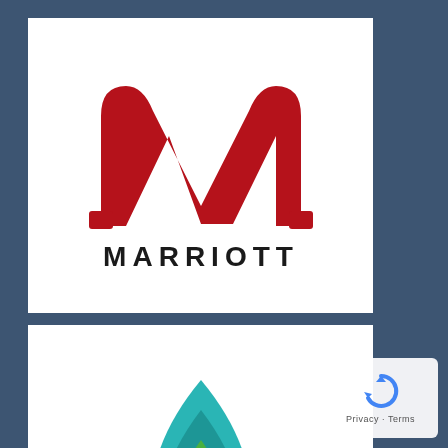[Figure (logo): Marriott hotel brand logo: stylized red M mark above the word MARRIOTT in bold black letters]
[Figure (logo): Niraamaya Retreats logo: teal water-drop icon with green inner drop, text NIRAAMAYA RETREATS below]
[Figure (logo): Taj Hotels Resorts logo: decorative snowflake/mandala emblem above large TAJ text, Hotels Resorts below]
[Figure (logo): Google reCAPTCHA widget with blue circular arrows icon and Privacy/Terms text]